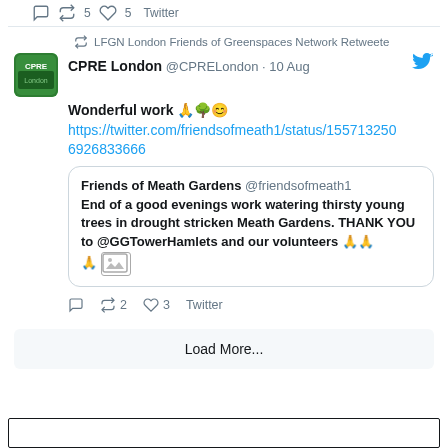↩ 5 ♡ 5 Twitter
↩ LFGN London Friends of Greenspaces Network Retweeted
CPRE London @CPRELondon · 10 Aug
Wonderful work 🙏🌳😊 https://twitter.com/friendsofmeath1/status/15571325066926833666
Friends of Meath Gardens @friendsofmeath1 End of a good evenings work watering thirsty young trees in drought stricken Meath Gardens. THANK YOU to @GGTowerHamlets and our volunteers 🙏🙏🙏 [image]
↩ 2 ♡ 3 Twitter
Load More...
[Figure (screenshot): Bottom border box of the web page]